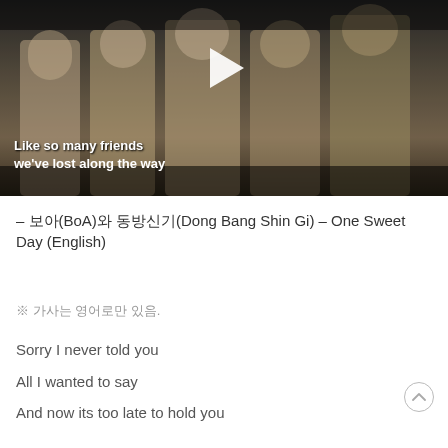[Figure (screenshot): Video player screenshot showing a group of performers on stage with subtitle text 'Like so many friends we've lost along the way' and a play button overlay]
– 보아(BoA)와 동방신기(Dong Bang Shin Gi) – One Sweet Day (English)
※ 가사는 영어로만 있음.
Sorry I never told you
All I wanted to say
And now its too late to hold you